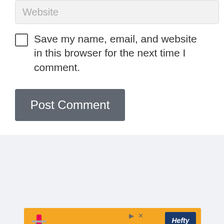Website
Save my name, email, and website in this browser for the next time I comment.
Post Comment
[Figure (screenshot): ezoic ad placeholder with 'report this ad' text, heart/like button showing count 1, and share button on right side]
[Figure (screenshot): Dark blue advertisement banner with headphones image and 'WHAT'S NEXT' label for Cheap Noise Canceling products]
[Figure (screenshot): Orange Hefty advertisement banner with product image and Hefty logo]